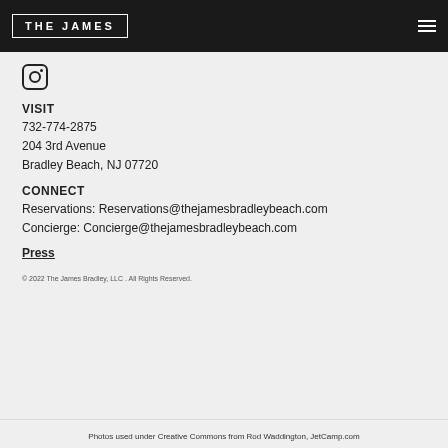THE JAMES
[Figure (logo): Instagram icon - camera logo]
VISIT
732-774-2875
204 3rd Avenue
Bradley Beach, NJ 07720
CONNECT
Reservations: Reservations@thejamesbradleybeach.com
Concierge: Concierge@thejamesbradleybeach.com
Press
© 2022 The James Bradley, LLC . All Rights Reserved.
Photos used under Creative Commons from Rod Waddington, JetCamp.com